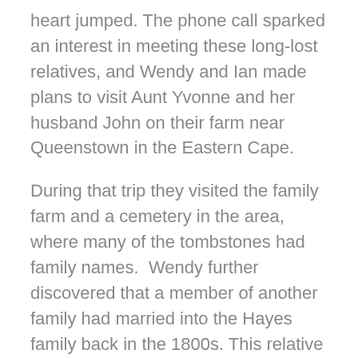heart jumped. The phone call sparked an interest in meeting these long-lost relatives, and Wendy and Ian made plans to visit Aunt Yvonne and her husband John on their farm near Queenstown in the Eastern Cape.
During that trip they visited the family farm and a cemetery in the area, where many of the tombstones had family names.  Wendy further discovered that a member of another family had married into the Hayes family back in the 1800s. This relative had compiled a family history and published it. Wendy returned home with several pages copied from the book, which included stories of the arrival of her ancestors to South Africa in 1820 and also detailed the genealogy of the Hayes family for the past 150 years.